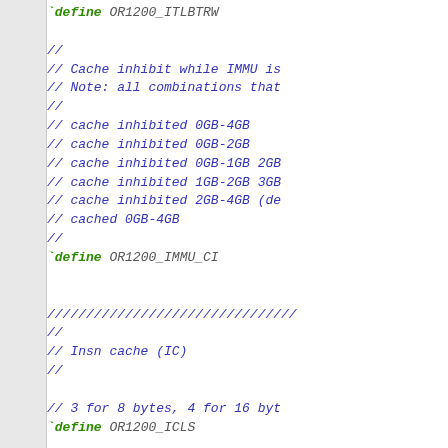[Figure (screenshot): Source code snippet in a monospace editor showing preprocessor define directives and C-style comments for OR1200 ITLBTRW, IMMU cache inhibit configurations, OR1200_IMMU_CI, OR1200_ICLS, and IC configurations.]